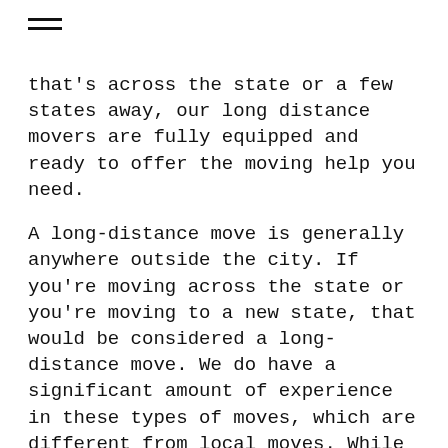that's across the state or a few states away, our long distance movers are fully equipped and ready to offer the moving help you need.
A long-distance move is generally anywhere outside the city. If you're moving across the state or you're moving to a new state, that would be considered a long-distance move. We do have a significant amount of experience in these types of moves, which are different from local moves. While packing and driving are similar, the longer-distance moves do take a lot longer because of driving requirements, such as mandatory breaks to ensure the driver can safely move all of your belongings.
Before your move, we can offer a quote so you